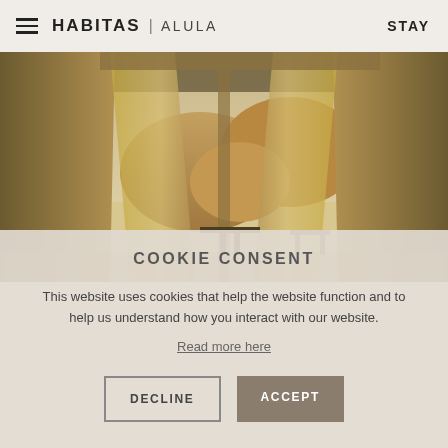HABITAS | ALULA    STAY
[Figure (photo): Interior view through sheer golden curtains opening to a desert landscape with sandstone rock formations and a small table outside]
COOKIE CONSENT
This website uses cookies that help the website function and to help us understand how you interact with our website.
Read more here
DECLINE    ACCEPT